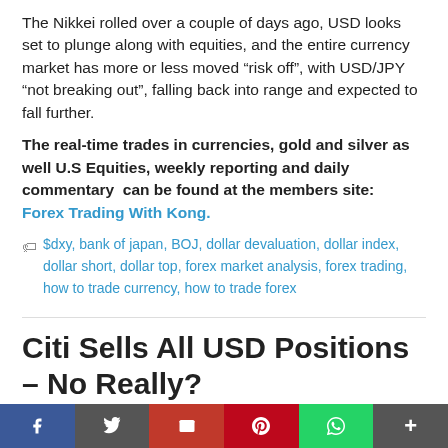The Nikkei rolled over a couple of days ago, USD looks set to plunge along with equities, and the entire currency market has more or less moved “risk off”, with USD/JPY “not breaking out”, falling back into range and expected to fall further.
The real-time trades in currencies, gold and silver as well U.S Equities, weekly reporting and daily commentary  can be found at the members site: Forex Trading With Kong.
$dxy, bank of japan, BOJ, dollar devaluation, dollar index, dollar short, dollar top, forex market analysis, forex trading, how to trade currency, how to trade forex
Citi Sells All USD Positions – No Really?
[Figure (infographic): Social media sharing bar with buttons for Facebook, Twitter, Email, Pinterest, WhatsApp, and More]